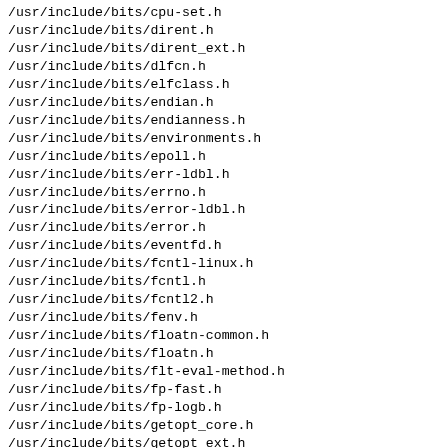/usr/include/bits/cpu-set.h
/usr/include/bits/dirent.h
/usr/include/bits/dirent_ext.h
/usr/include/bits/dlfcn.h
/usr/include/bits/elfclass.h
/usr/include/bits/endian.h
/usr/include/bits/endianness.h
/usr/include/bits/environments.h
/usr/include/bits/epoll.h
/usr/include/bits/err-ldbl.h
/usr/include/bits/errno.h
/usr/include/bits/error-ldbl.h
/usr/include/bits/error.h
/usr/include/bits/eventfd.h
/usr/include/bits/fcntl-linux.h
/usr/include/bits/fcntl.h
/usr/include/bits/fcntl2.h
/usr/include/bits/fenv.h
/usr/include/bits/floatn-common.h
/usr/include/bits/floatn.h
/usr/include/bits/flt-eval-method.h
/usr/include/bits/fp-fast.h
/usr/include/bits/fp-logb.h
/usr/include/bits/getopt_core.h
/usr/include/bits/getopt_ext.h
/usr/include/bits/getopt_posix.h
/usr/include/bits/hwcap.h
/usr/include/bits/in.h
/usr/include/bits/indirect-return.h
/usr/include/bits/initspin.h